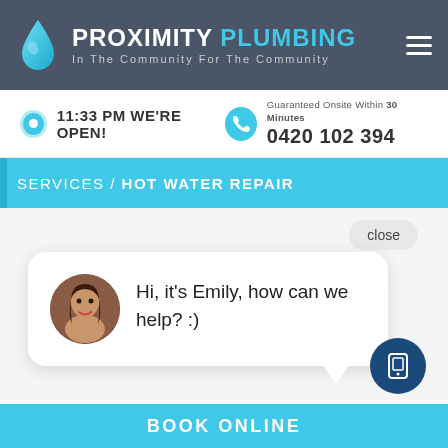PROXIMITY PLUMBING - In The Community For The Community
11:33 PM WE'RE OPEN!
Guaranteed Onsite Within 30 Minutes
0420 102 394
SERVICES / HOT WATER REPAIR
close
Hi, it's Emily, how can we help? :)
BOOK ONLINE